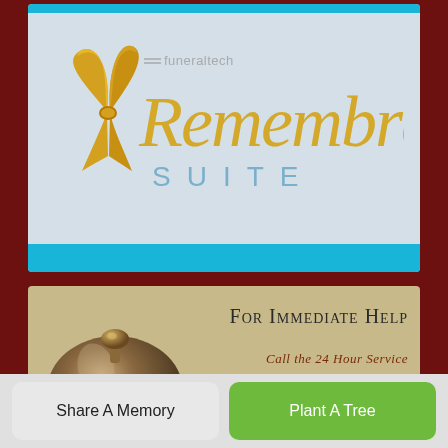[Figure (logo): Funeraltech Remembrance Suite logo with yellow ribbon on left, 'funeraltech' text in gray, 'Remembrance' in gold italic script, 'SUITE' in light blue spaced caps, all on a light blue-gray background with cyan bars top and bottom]
[Figure (photo): Bronze hotel service bell on a golden/tan background with text 'For Immediate Help' in dark serif font and 'Call the 24 Hour Service' in italic brown text below]
Share A Memory
Plant A Tree